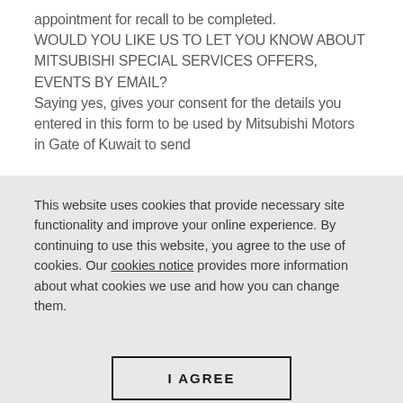appointment for recall to be completed. WOULD YOU LIKE US TO LET YOU KNOW ABOUT MITSUBISHI SPECIAL SERVICES OFFERS, EVENTS BY EMAIL? Saying yes, gives your consent for the details you entered in this form to be used by Mitsubishi Motors in Gate of Kuwait to send
This website uses cookies that provide necessary site functionality and improve your online experience. By continuing to use this website, you agree to the use of cookies. Our cookies notice provides more information about what cookies we use and how you can change them.
I AGREE